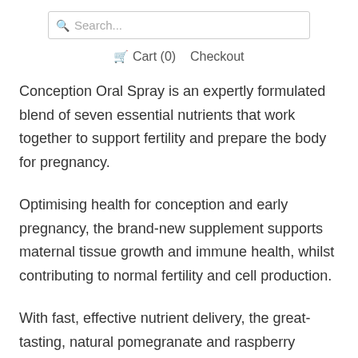Search...
Cart (0)   Checkout
Conception Oral Spray is an expertly formulated blend of seven essential nutrients that work together to support fertility and prepare the body for pregnancy.
Optimising health for conception and early pregnancy, the brand-new supplement supports maternal tissue growth and immune health, whilst contributing to normal fertility and cell production.
With fast, effective nutrient delivery, the great-tasting, natural pomegranate and raspberry flavoured spray is designed to